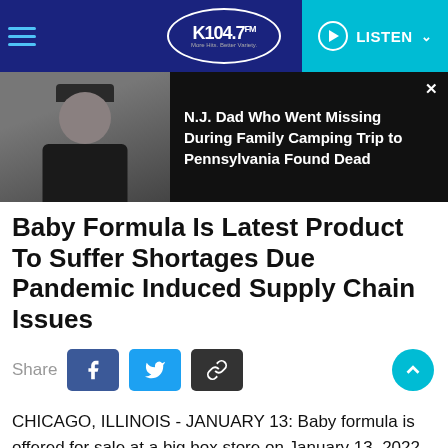K104.7 FM — LISTEN
[Figure (photo): News promo banner: photo of a man wearing a dark cap and black shirt on left; headline text on right over black background: 'N.J. Dad Who Went Missing During Family Camping Trip to Pennsylvania Found Dead']
Baby Formula Is Latest Product To Suffer Shortages Due Pandemic Induced Supply Chain Issues
Share
CHICAGO, ILLINOIS - JANUARY 13: Baby formula is offered for sale at a big box store on January 13, 2022 in Chicago, Illinois. Baby formula has been is short supply in many